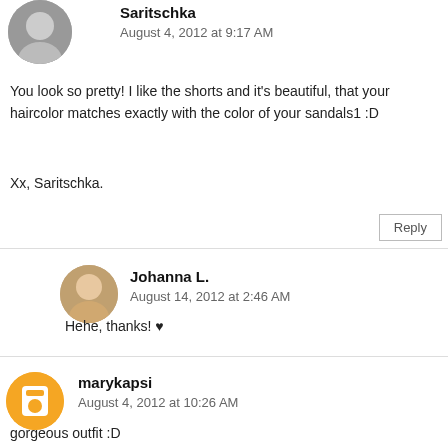Saritschka
August 4, 2012 at 9:17 AM
You look so pretty! I like the shorts and it's beautiful, that your haircolor matches exactly with the color of your sandals1 :D

Xx, Saritschka.
Reply
Johanna L.
August 14, 2012 at 2:46 AM
Hehe, thanks! ♥
marykapsi
August 4, 2012 at 10:26 AM
gorgeous outfit :D